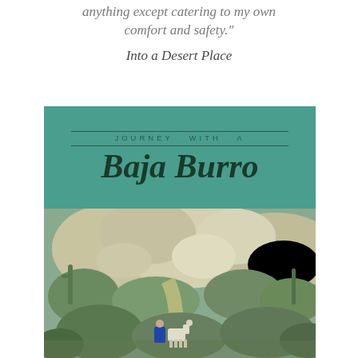anything except catering to my own comfort and safety."
Into a Desert Place
[Figure (illustration): Book cover for 'Journey With A Baja Burro'. Top portion is teal/green with the title text. Bottom portion shows a desert landscape photograph with rocky terrain, cacti, scrub vegetation, a dirt path, and two small figures (one in blue, one in white/light color) in the lower portion of the image.]